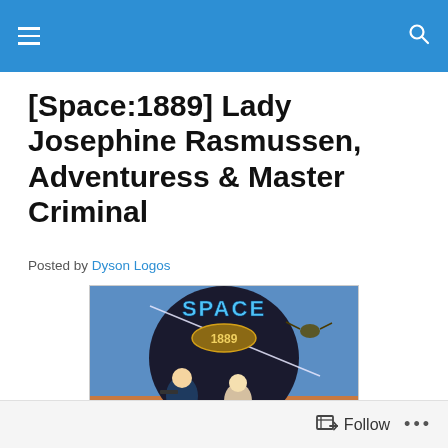[Space:1889] Lady Josephine Rasmussen, Adventuress & Master Criminal
Posted by Dyson Logos
[Figure (photo): Book cover of Space: 1889 roleplaying game showing two characters — a man in a blue uniform holding a pistol and a blonde woman — against a space/Mars background with the game title in stylized golden lettering at the top.]
Follow ...